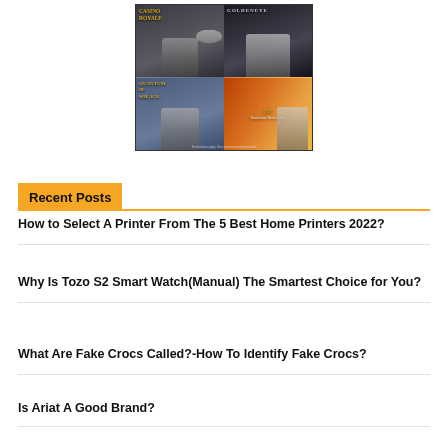[Figure (screenshot): Amazon Prime Video banner showing James Bond movie collection: Casino Royale, GoldenEye, Quantum of Solace, and Tomorrow Never Dies, displayed in a 2x2 grid on a blue background]
Recent Posts
How to Select A Printer From The 5 Best Home Printers 2022?
Why Is Tozo S2 Smart Watch(Manual) The Smartest Choice for You?
What Are Fake Crocs Called?-How To Identify Fake Crocs?
Is Ariat A Good Brand?